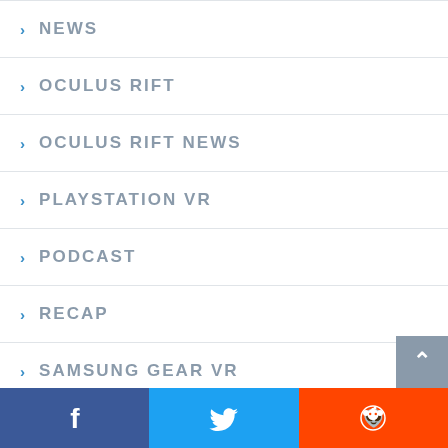NEWS
OCULUS RIFT
OCULUS RIFT NEWS
PLAYSTATION VR
PODCAST
RECAP
SAMSUNG GEAR VR
Facebook | Twitter | Reddit